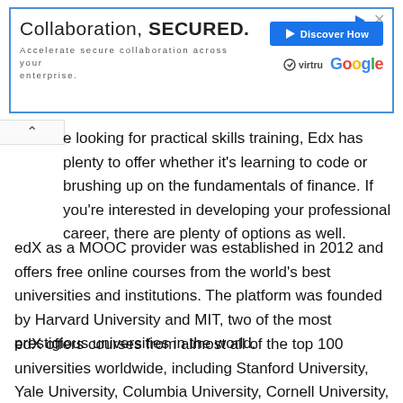[Figure (other): Advertisement banner for Virtru and Google collaboration security product. Shows text 'Collaboration, SECURED.' with subtitle 'Accelerate secure collaboration across your enterprise.' A blue 'Discover How' button with play icon, Virtru logo, and Google logo are on the right side.]
e looking for practical skills training, Edx has plenty to offer whether it's learning to code or brushing up on the fundamentals of finance. If you're interested in developing your professional career, there are plenty of options as well.
edX as a MOOC provider was established in 2012 and offers free online courses from the world's best universities and institutions. The platform was founded by Harvard University and MIT, two of the most prestigious universities in the world.
edX offers courses from almost all of the top 100 universities worldwide, including Stanford University, Yale University, Columbia University, Cornell University, and more than 150 others. edX also provides certifications for some courses as well as transcripts upon completion of your coursework if you